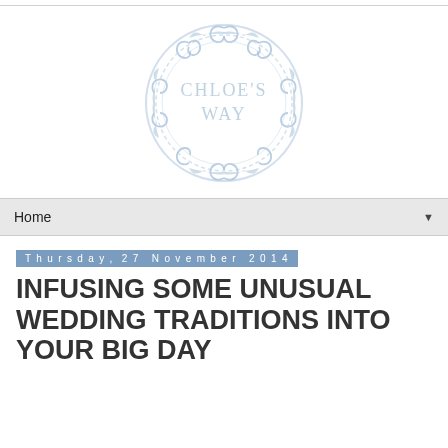[Figure (logo): Chloe's Way blog logo: a circular blue decorative filigree/scroll border with the text CHLOE'S WAY in pale blue inside the circle]
Home ▼
Thursday, 27 November 2014
INFUSING SOME UNUSUAL WEDDING TRADITIONS INTO YOUR BIG DAY